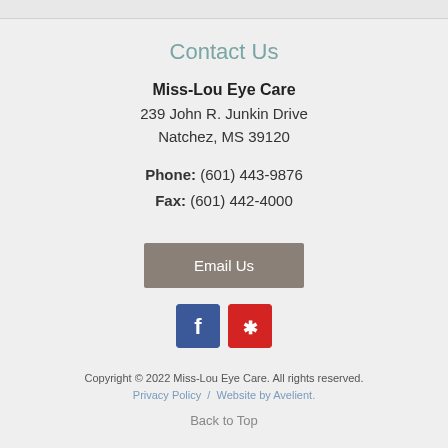Contact Us
Miss-Lou Eye Care
239 John R. Junkin Drive
Natchez, MS 39120
Phone: (601) 443-9876
Fax: (601) 442-4000
[Figure (other): Email Us button (grey rounded rectangle)]
[Figure (other): Facebook and Yelp social media icons]
Copyright © 2022 Miss-Lou Eye Care. All rights reserved. Privacy Policy / Website by Avelient.
Back to Top